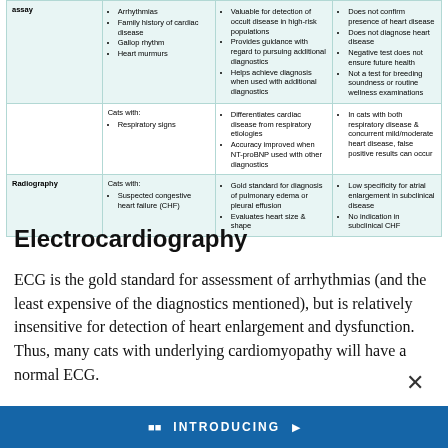|  | Cats with: | Advantages | Limitations |
| --- | --- | --- | --- |
| assay (cont.) | • Arrhythmias
• Family history of cardiac disease
• Gallop rhythm
• Heart murmurs | • Valuable for detection of occult disease in high-risk populations
• Provides guidance with regard to pursuing additional diagnostics
• Helps achieve diagnosis when used with additional diagnostics | • Does not confirm presence of heart disease
• Does not diagnose heart disease
• Negative test does not ensure future health
• Not a test for breeding soundness or routine wellness examinations |
|  | Cats with:
• Respiratory signs | • Differentiates cardiac disease from respiratory etiologies
• Accuracy improved when NT-proBNP used with other diagnostics | • In cats with both respiratory disease & concurrent mild/moderate heart disease, false positive results can occur |
| Radiography | Cats with:
• Suspected congestive heart failure (CHF) | • Gold standard for diagnosis of pulmonary edema or pleural effusion
• Evaluates heart size & shape | • Low specificity for atrial enlargement in subclinical disease
• No indication in subclinical CHF |
Electrocardiography
ECG is the gold standard for assessment of arrhythmias (and the least expensive of the diagnostics mentioned), but is relatively insensitive for detection of heart enlargement and dysfunction. Thus, many cats with underlying cardiomyopathy will have a normal ECG.
[Figure (other): Bottom banner in blue with 'INTRODUCING' text and product imagery]